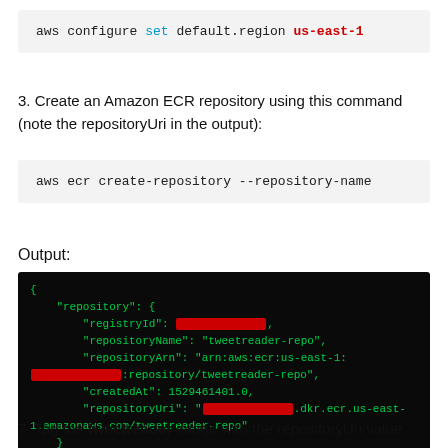[Figure (screenshot): Code block showing: aws configure set default.region us-east-1]
3. Create an Amazon ECR repository using this command (note the repositoryUri in the output):
[Figure (screenshot): Code block showing: aws ecr create-repository --repository-name]
Output:
[Figure (screenshot): Terminal output showing JSON with repository details including registryId (redacted), repositoryName: tweetreader-repo, repositoryArn: arn:aws:ecr:us-east-1:(redacted):repository/tweetreader-repo, createdAt: 1529461401.0, repositoryUri: (redacted).dkr.ecr.us-east-1.amazonaws.com/tweetreader-repo]
7. Tag the tweetreader image with the repositoryUri value